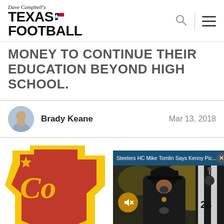Dave Campbell's Texas Football
MONEY TO CONTINUE THEIR EDUCATION BEYOND HIGH SCHOOL.
Brady Keane   Mar 13, 2018
[Figure (screenshot): Article page screenshot showing a Cornerstone-branded sticker on the left and a video overlay on the right with title 'Steelers HC Mike Tomlin Says Kenny Pic...' featuring a man in a black cap yelling at a referee in a striped shirt. A mute button overlay is visible on the video.]